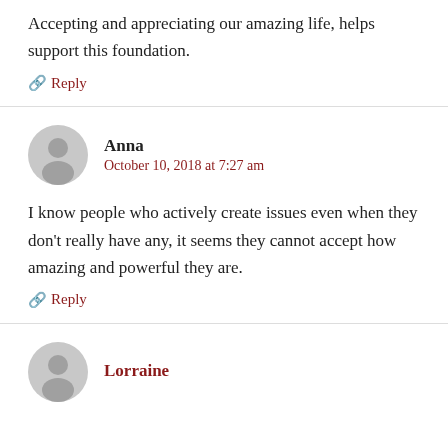Accepting and appreciating our amazing life, helps support this foundation.
↩ Reply
Anna
October 10, 2018 at 7:27 am
I know people who actively create issues even when they don't really have any, it seems they cannot accept how amazing and powerful they are.
↩ Reply
Lorraine